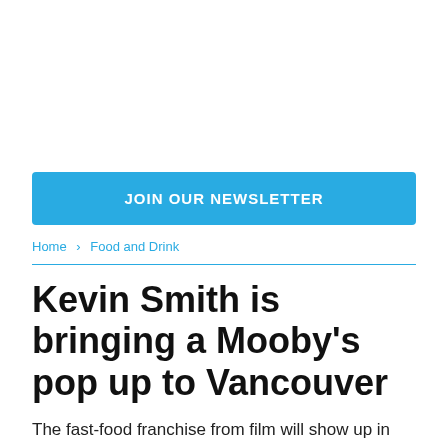JOIN OUR NEWSLETTER
Home > Food and Drink
Kevin Smith is bringing a Mooby's pop up to Vancouver
The fast-food franchise from film will show up in March, complete with Cow Tippers and Hater Totz.
[Figure (photo): Author avatar photo, circular crop, partially visible at bottom of page]